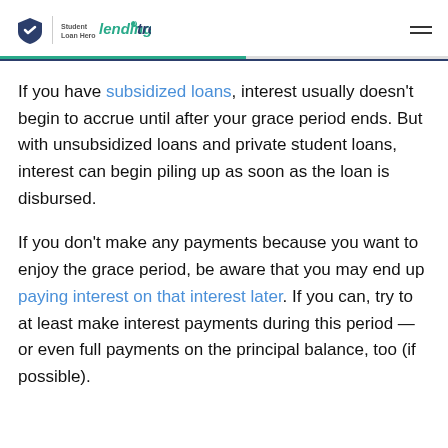Student Loan Hero | lendingtree
If you have subsidized loans, interest usually doesn't begin to accrue until after your grace period ends. But with unsubsidized loans and private student loans, interest can begin piling up as soon as the loan is disbursed.
If you don't make any payments because you want to enjoy the grace period, be aware that you may end up paying interest on that interest later. If you can, try to at least make interest payments during this period — or even full payments on the principal balance, too (if possible).